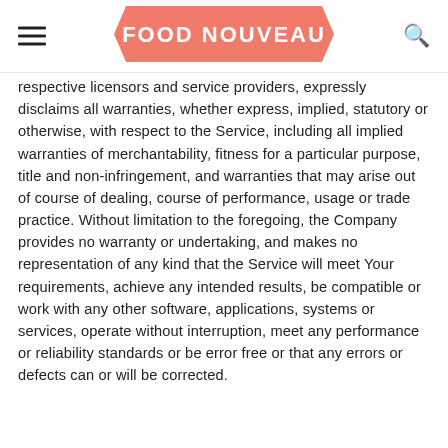FOOD NOUVEAU
respective licensors and service providers, expressly disclaims all warranties, whether express, implied, statutory or otherwise, with respect to the Service, including all implied warranties of merchantability, fitness for a particular purpose, title and non-infringement, and warranties that may arise out of course of dealing, course of performance, usage or trade practice. Without limitation to the foregoing, the Company provides no warranty or undertaking, and makes no representation of any kind that the Service will meet Your requirements, achieve any intended results, be compatible or work with any other software, applications, systems or services, operate without interruption, meet any performance or reliability standards or be error free or that any errors or defects can or will be corrected.